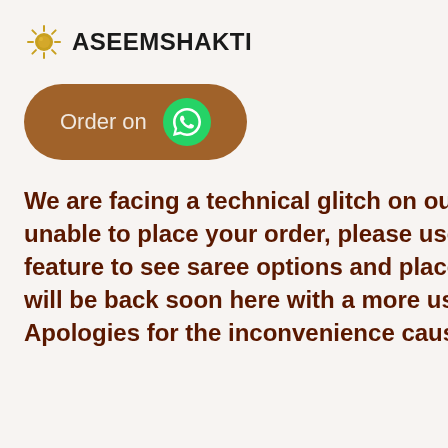[Figure (screenshot): A modal dialog from the website 'Aseem Shakti' overlapping a background web page. The modal has a logo with a sun icon and the text 'ASEEM SHAKTI', a hamburger menu icon, an 'Order on WhatsApp' button (brown rounded rectangle with WhatsApp circle icon), and a bold dark-red message about a technical glitch. The background page shows partial text about growth hormone and metabolism.]
ASEEMSHAKTI
[Figure (illustration): Sun logo icon for Aseem Shakti brand]
Order on [WhatsApp icon]
We are facing a technical glitch on our website. If you're unable to place your order, please use 'Order on Whatsapp' feature to see saree options and place your order there. We will be back soon here with a more user friendly website. Apologies for the inconvenience caused.
muscle mass.
Effect on the metabolism To produce the hormone, the pituitary glands produce the hormone, human growth hormone vs